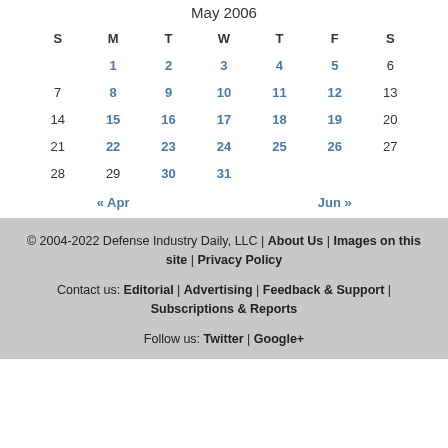May 2006
| S | M | T | W | T | F | S |
| --- | --- | --- | --- | --- | --- | --- |
|  | 1 | 2 | 3 | 4 | 5 | 6 |
| 7 | 8 | 9 | 10 | 11 | 12 | 13 |
| 14 | 15 | 16 | 17 | 18 | 19 | 20 |
| 21 | 22 | 23 | 24 | 25 | 26 | 27 |
| 28 | 29 | 30 | 31 |  |  |  |
« Apr    Jun »
© 2004-2022 Defense Industry Daily, LLC | About Us | Images on this site | Privacy Policy
Contact us: Editorial | Advertising | Feedback & Support | Subscriptions & Reports
Follow us: Twitter | Google+